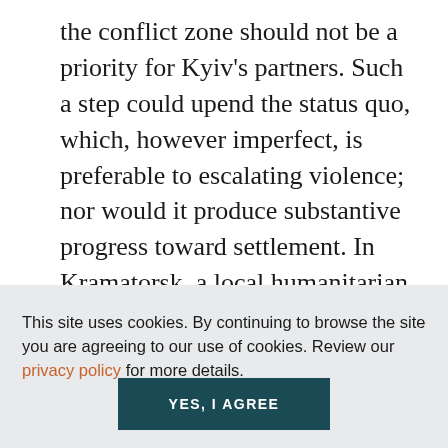the conflict zone should not be a priority for Kyiv's partners. Such a step could upend the status quo, which, however imperfect, is preferable to escalating violence; nor would it produce substantive progress toward settlement. In Kramatorsk, a local humanitarian worker showed me pictures of Soviet-era shells, recently fired at front-line villages, enhanced in makeshift ways for more lethal impact. He said the sides were copying one another in their use. New weapons in the
This site uses cookies. By continuing to browse the site you are agreeing to our use of cookies. Review our privacy policy for more details.
YES, I AGREE